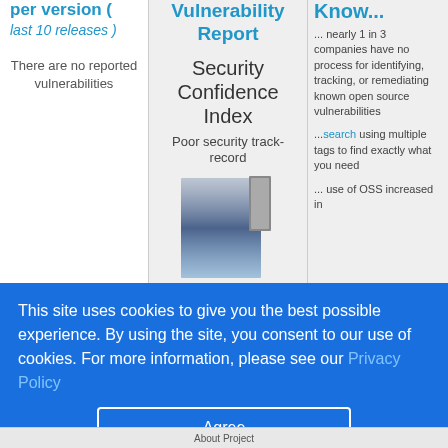per version ( last 10 releases )
There are no reported vulnerabilities
Vulnerability Report
Security Confidence Index
Poor security track-record
[Figure (infographic): Gradient bar representing security confidence index from favorable (bottom) to poor (top), with a dark marker indicator]
Favorable security track-record
Vulnerability Exposure Index
Know...
... nearly 1 in 3 companies have no process for identifying, tracking, or remediating known open source vulnerabilities
... search using multiple tags to find exactly what you need
... use of OSS increased in
This site uses cookies to give you the best possible experience. By using the site, you consent to our use of cookies. For more information, please see our Privacy Policy
Agree
About Project